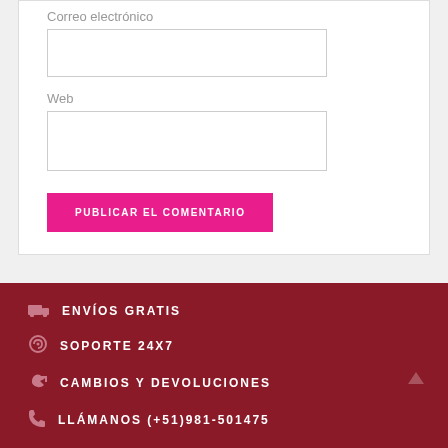Correo electrónico
Web
PUBLICAR EL COMENTARIO
ENVÍOS GRATIS
SOPORTE 24X7
CAMBIOS Y DEVOLUCIONES
LLÁMANOS (+51)981-501475